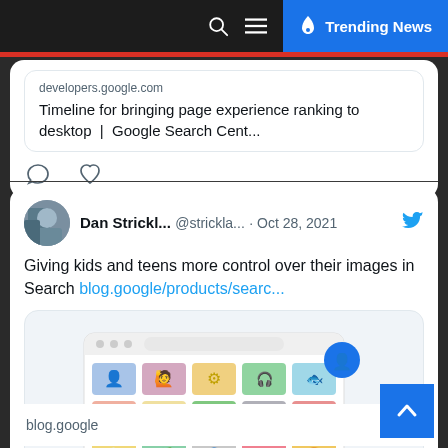Trending News
developers.google.com
Timeline for bringing page experience ranking to desktop | Google Search Cent...
[Figure (screenshot): Tweet icons: comment and heart/like action buttons]
Dan Strickl... @strickla... · Oct 28, 2021
Giving kids and teens more control over their images in Search blog.google/products/searc...
[Figure (screenshot): Screenshot of a browser window showing a grid of colorful image thumbnails with a blue shield/profile icon overlay in the top right of the browser window]
blog.google